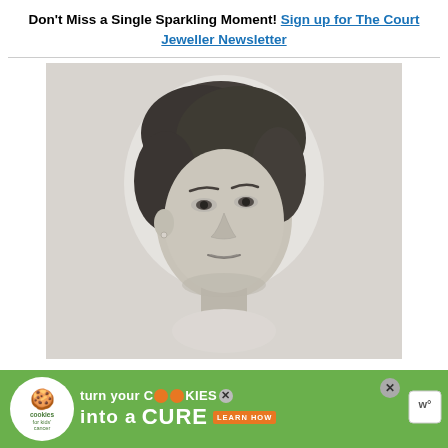Don't Miss a Single Sparkling Moment! Sign up for The Court Jeweller Newsletter
[Figure (photo): Black and white portrait photograph of a woman with dark hair styled up, wearing a light-colored high-necked garment, looking slightly to the side.]
[Figure (infographic): Advertisement banner: 'cookies for kids cancer - turn your COOKIES into a CURE LEARN HOW' on a green background with orange cookie icons and a close button.]